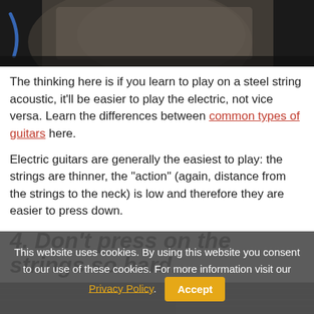[Figure (photo): Close-up photo of a person's lap holding a guitar, dark background with blue guitar cable visible]
The thinking here is if you learn to play on a steel string acoustic, it'll be easier to play the electric, not vice versa. Learn the differences between common types of guitars here.
Electric guitars are generally the easiest to play: the strings are thinner, the "action" (again, distance from the strings to the neck) is low and therefore they are easier to press down.
4. Don't press on the strings so hard.
[Figure (photo): Black and white close-up photo of guitar strings and fretboard]
This website uses cookies. By using this website you consent to our use of these cookies. For more information visit our Privacy Policy.